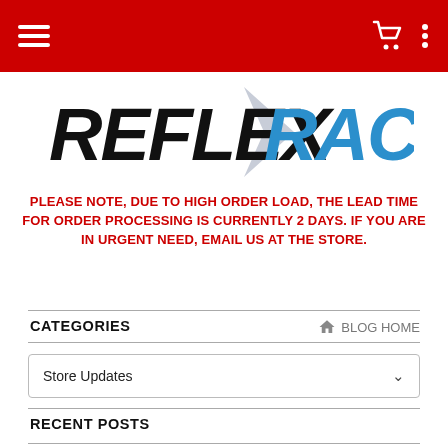Navigation bar with menu, cart, and options icons
[Figure (logo): Reflex Racing logo — REFLEX in black bold italic, RACING in blue bold italic with a lightning/arrow graphic]
PLEASE NOTE, DUE TO HIGH ORDER LOAD, THE LEAD TIME FOR ORDER PROCESSING IS CURRENTLY 2 DAYS. IF YOU ARE IN URGENT NEED, EMAIL US AT THE STORE.
CATEGORIES
BLOG HOME
Store Updates
RECENT POSTS
Yokomo BD7 2015 Set Ups